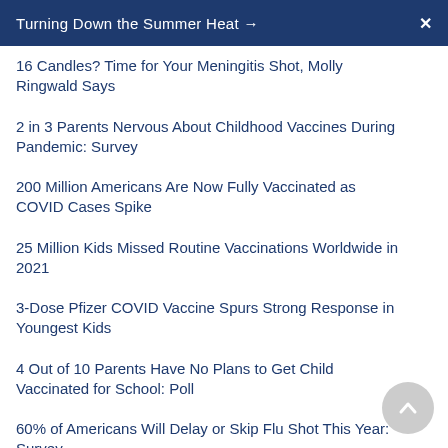Turning Down the Summer Heat →  ✕
16 Candles? Time for Your Meningitis Shot, Molly Ringwald Says
2 in 3 Parents Nervous About Childhood Vaccines During Pandemic: Survey
200 Million Americans Are Now Fully Vaccinated as COVID Cases Spike
25 Million Kids Missed Routine Vaccinations Worldwide in 2021
3-Dose Pfizer COVID Vaccine Spurs Strong Response in Youngest Kids
4 Out of 10 Parents Have No Plans to Get Child Vaccinated for School: Poll
60% of Americans Will Delay or Skip Flu Shot This Year: Survey
99% of New U.S. COVID Hospitalizations, Deaths